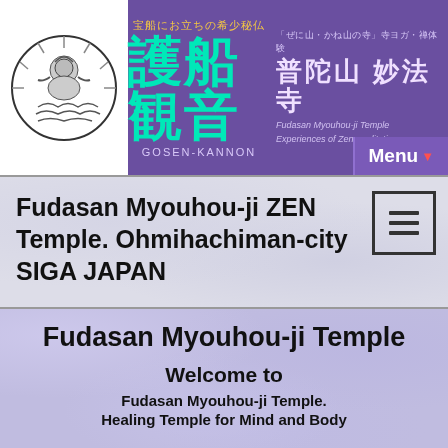護船観音 GOSEN-KANNON / 普陀山 妙法寺 Fudasan Myouhou-ji Temple Experiences of Zen meditation / Menu
Fudasan Myoouhou-ji ZEN Temple. Ohmihachiman-city SIGA JAPAN
Fudasan Myouhou-ji Temple
Welcome to
Fudasan Myouhou-ji Temple.
Healing Temple for Mind and Body
Please browse each page from the menu.